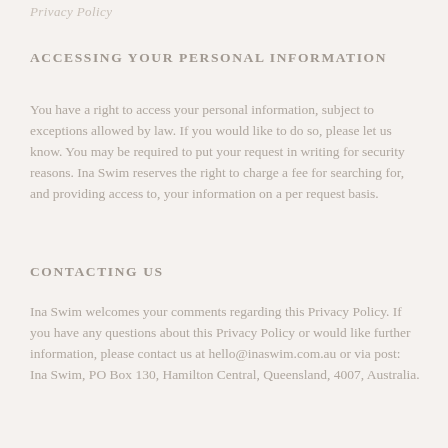Privacy Policy
ACCESSING YOUR PERSONAL INFORMATION
You have a right to access your personal information, subject to exceptions allowed by law. If you would like to do so, please let us know. You may be required to put your request in writing for security reasons. Ina Swim reserves the right to charge a fee for searching for, and providing access to, your information on a per request basis.
CONTACTING US
Ina Swim welcomes your comments regarding this Privacy Policy. If you have any questions about this Privacy Policy or would like further information, please contact us at hello@inaswim.com.au or via post:
Ina Swim, PO Box 130, Hamilton Central, Queensland, 4007, Australia.